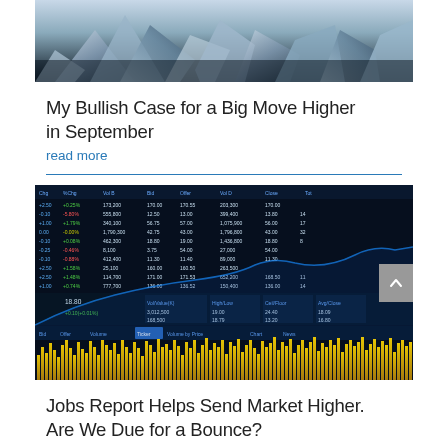[Figure (photo): Crystal/mineral fragments photo with blue-grey tones at top of page]
My Bullish Case for a Big Move Higher in September
read more
[Figure (screenshot): Stock market trading screen showing financial data table with columns for Vol B, Bid, Offer, Vol D, Close and a candlestick chart with yellow volume bars at the bottom]
Jobs Report Helps Send Market Higher. Are We Due for a Bounce?